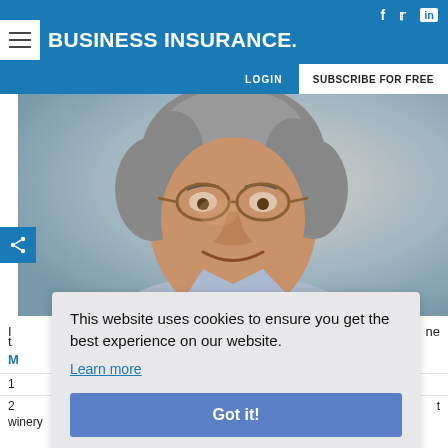BUSINESS INSURANCE
[Figure (photo): Older man with curly gray hair and glasses, smiling, wearing a light blue collared shirt, close-up portrait photo]
I ... ne
t ...
M
1
2 ... t
winery
This website uses cookies to ensure you get the best experience on our website.
Learn more
Got it!